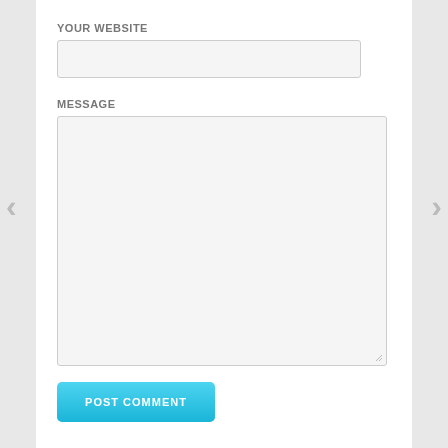YOUR WEBSITE
[Figure (screenshot): Text input field for website URL, empty, with light gray background and border]
MESSAGE
[Figure (screenshot): Large textarea for message input, empty, with light gray background and border, resize handle in bottom right corner]
POST COMMENT